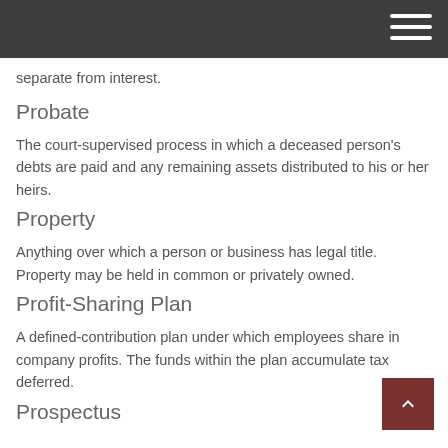separate from interest.
Probate
The court-supervised process in which a deceased person's debts are paid and any remaining assets distributed to his or her heirs.
Property
Anything over which a person or business has legal title. Property may be held in common or privately owned.
Profit-Sharing Plan
A defined-contribution plan under which employees share in company profits. The funds within the plan accumulate tax deferred.
Prospectus